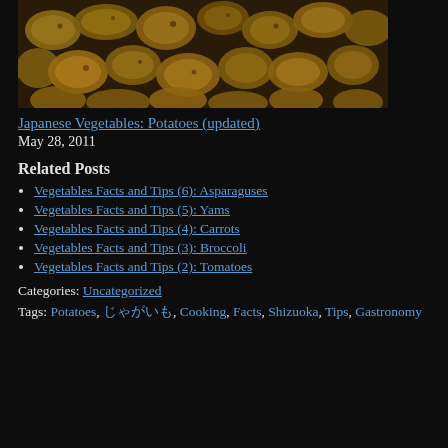[Figure (photo): Close-up photograph of many potatoes piled together, brownish-golden color on a dark background]
Japanese Vegetables: Potatoes (updated)
May 28, 2011
Related Posts
Vegetables Facts and Tips (6): Asparaguses
Vegetables Facts and Tips (5): Yams
Vegetables Facts and Tips (4): Carrots
Vegetables Facts and Tips (3): Broccoli
Vegetables Facts and Tips (2): Tomatoes
Categories: Uncategorized
Tags: Potatoes, じゃがいも, Cooking, Facts, Shizuoka, Tips, Gastronomy